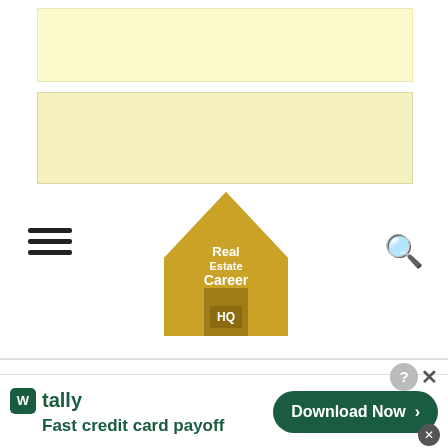[Figure (other): Yellow advertisement placeholder block 1]
[Figure (other): Yellow advertisement placeholder block 2]
[Figure (logo): Real Estate Career HQ logo — gold house silhouette with text Real Estate Career HQ]
How to Become a Real Estate
[Figure (other): Tally app advertisement banner: tally logo, Fast credit card payoff, Download Now button]